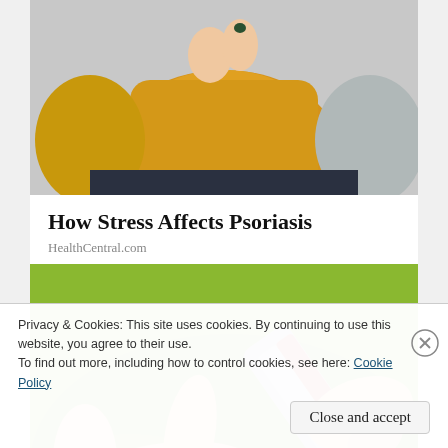[Figure (photo): Person in yellow sweater sitting, hands clasped, top portion of image]
How Stress Affects Psoriasis
HealthCentral.com
[Figure (photo): Hands applying cream from a tube to a finger, with green background]
Privacy & Cookies: This site uses cookies. By continuing to use this website, you agree to their use.
To find out more, including how to control cookies, see here: Cookie Policy
Close and accept